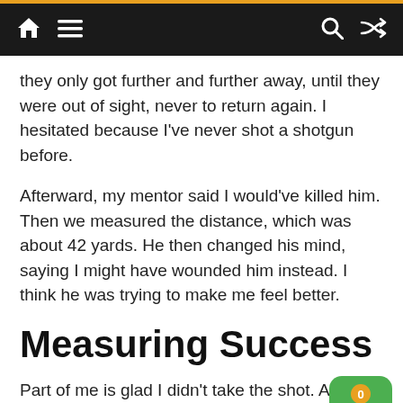[Navigation bar with home, menu, search, shuffle icons]
they only got further and further away, until they were out of sight, never to return again. I hesitated because I've never shot a shotgun before.
Afterward, my mentor said I would've killed him. Then we measured the distance, which was about 42 yards. He then changed his mind, saying I might have wounded him instead. I think he was trying to make me feel better.
Measuring Success
Part of me is glad I didn't take the shot. After all, I was in someone else's blind, on someone else's land, holding someone else's shotgun, and wea someone else's camo.